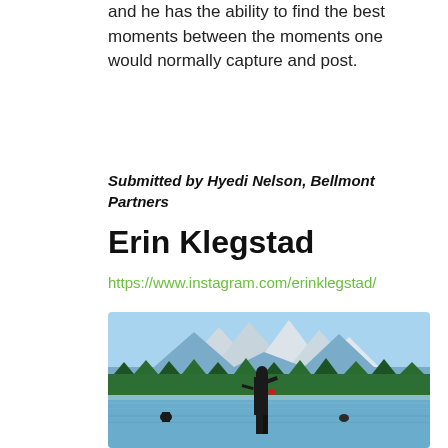and he has the ability to find the best moments between the moments one would normally capture and post.
Submitted by Hyedi Nelson, Bellmont Partners
Erin Klegstad
https://www.instagram.com/erinklegstad/
[Figure (photo): Woman in black wetsuit standing in a lake with mountains and forest in the background, other swimmers visible in the water]